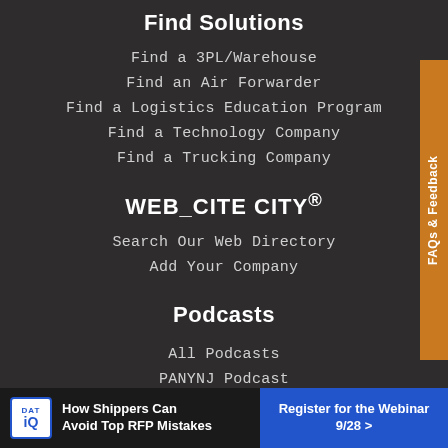Find Solutions
Find a 3PL/Warehouse
Find an Air Forwarder
Find a Logistics Education Program
Find a Technology Company
Find a Trucking Company
WEB_CITE CITY®
Search Our Web Directory
Add Your Company
Podcasts
All Podcasts
PANYNJ Podcast
[Figure (other): FAQs & Feedback vertical tab on right side, orange background]
[Figure (other): DAT iQ advertisement banner at bottom: 'How Shippers Can Avoid Top RFP Mistakes' with 'Register for the Webinar 9/28 >' call to action button]